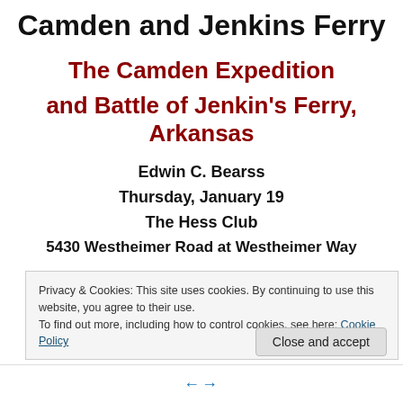Camden and Jenkins Ferry
The Camden Expedition and Battle of Jenkin's Ferry, Arkansas
Edwin C. Bearss
Thursday, January 19
The Hess Club
5430 Westheimer Road at Westheimer Way
Privacy & Cookies: This site uses cookies. By continuing to use this website, you agree to their use.
To find out more, including how to control cookies, see here: Cookie Policy
Close and accept